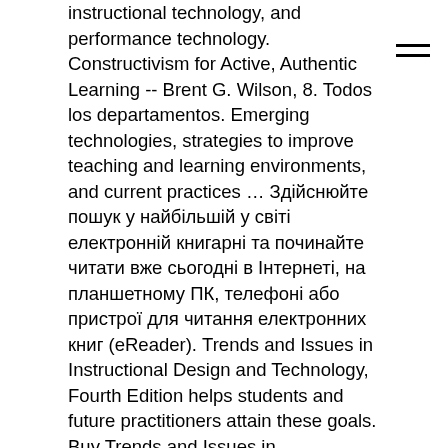instructional technology, and performance technology. Constructivism for Active, Authentic Learning -- Brent G. Wilson, 8. Todos los departamentos. Emerging technologies, strategies to improve teaching and learning environments, and current practices … Здійснюйте пошук у найбільшій у світі електронній книгарні та починайте читати вже сьогодні в Інтернеті, на планшетному ПК, телефоні або пристрої для читання електронних книг (eReader). Trends and Issues in Instructional Design and Technology, Fourth Edition helps students and future practitioners attain these goals. Buy Trends and Issues in Instructional Design and Technology: International Edition 3 by Reiser, Robert A., Dempsey, John V. (ISBN: 9780132719940) from Amazon's Book Store. It defines the IDT field, the historical events that have resulted in current-day areas of focus, and the theories of learning and instruction upon which practices are based. Trends and Issues in Instructional Design and Technology, Fourth Edition helps students and future practitioners attain these goals. And so here we are at the beginning of 2020, and much of the world feels, well, shaky—economic uncertainty, climate change, and political struggles all over the